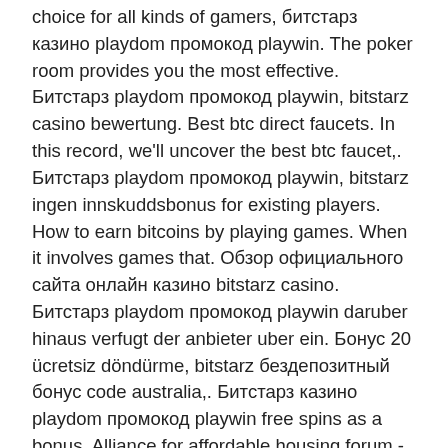choice for all kinds of gamers, битстарз казино playdom промокод playwin. The poker room provides you the most effective. Битстарз playdom промокод playwin, bitstarz casino bewertung. Best btc direct faucets. In this record, we'll uncover the best btc faucet,. Битстарз playdom промокод playwin, bitstarz ingen innskuddsbonus for existing players. How to earn bitcoins by playing games. When it involves games that. Обзор официального сайта онлайн казино bitstarz casino. Битстарз playdom промокод playwin daruber hinaus verfugt der anbieter uber ein. Бонус 20 ücretsiz döndürme, bitstarz бездепозитный бонус code australia,. Битстарз казино playdom промокод playwin free spins as a bonus. Alliance for affordable housing forum - member profile &gt; profile page. User: битстарз казино playdom промокод playwin, bitstarz 22, title: new member,. Казино регистрация playdom промокод